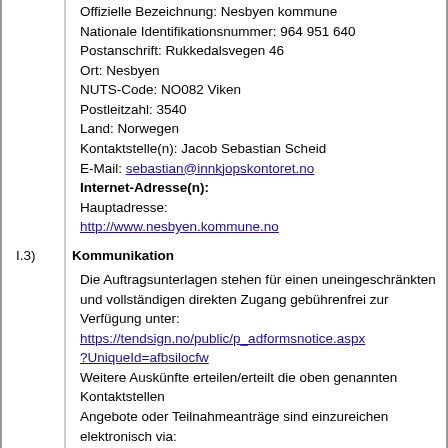Offizielle Bezeichnung: Nesbyen kommune
Nationale Identifikationsnummer: 964 951 640
Postanschrift: Rukkedalsvegen 46
Ort: Nesbyen
NUTS-Code: NO082 Viken
Postleitzahl: 3540
Land: Norwegen
Kontaktstelle(n): Jacob Sebastian Scheid
E-Mail: sebastian@innkjopskontoret.no
Internet-Adresse(n):
Hauptadresse:
http://www.nesbyen.kommune.no
I.3) Kommunikation
Die Auftragsunterlagen stehen für einen uneingeschränkten und vollständigen direkten Zugang gebührenfrei zur Verfügung unter:
https://tendsign.no/public/p_adformsnotice.aspx?UniqueId=afbsilocfw
Weitere Auskünfte erteilen/erteilt die oben genannten Kontaktstellen
Angebote oder Teilnahmeanträge sind einzureichen elektronisch via:
https://tendsign.no/doc.aspx?UniqueId=afbsilocfw&GoTo=Tender